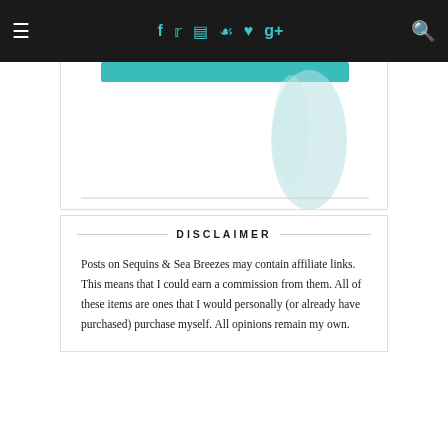≡  [social icons: f, twitter, instagram, pinterest, heart, g+]  [search]
[Figure (illustration): Partial blog header image with teal bar and light teal decorative shape on white background, with a horizontal rule below]
DISCLAIMER
Posts on Sequins & Sea Breezes may contain affiliate links. This means that I could earn a commission from them. All of these items are ones that I would personally (or already have purchased) purchase myself. All opinions remain my own.